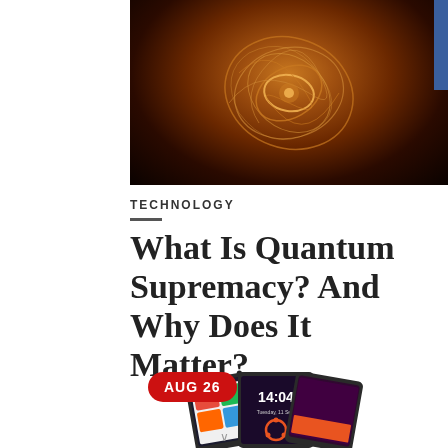[Figure (photo): Close-up photo of tangled copper or metallic wires against a dark background, creating an abstract glowing nest-like shape]
TECHNOLOGY
What Is Quantum Supremacy? And Why Does It Matter?
[Figure (photo): Three Ubuntu phones displayed side by side showing the Ubuntu touch interface, with a red badge showing AUG 26. The center phone shows 14:04 on the lock screen.]